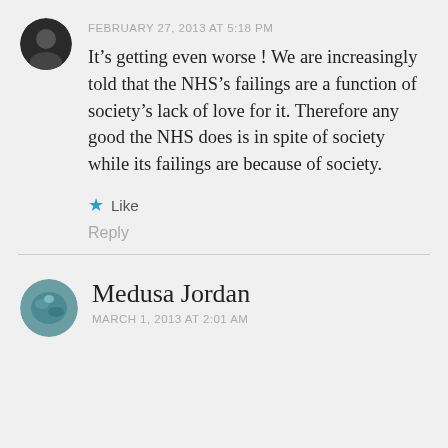[Figure (photo): Small circular avatar of a person in dark clothing, top-left area]
FEBRUARY 27, 2013 AT 5:18 PM
It’s getting even worse ! We are increasingly told that the NHS’s failings are a function of society’s lack of love for it. Therefore any good the NHS does is in spite of society while its failings are because of society.
★ Like
Reply
[Figure (photo): Small circular avatar with colorful pattern, bottom-left area]
Medusa Jordan
MARCH 1, 2013 AT 2:01 AM